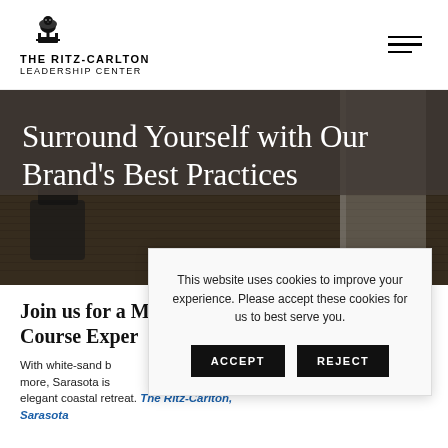THE RITZ-CARLTON LEADERSHIP CENTER
[Figure (logo): The Ritz-Carlton lion and crown logo above the text THE RITZ-CARLTON LEADERSHIP CENTER]
[Figure (photo): Darkened interior photo of a room with wooden floor and chairs, used as hero background]
Surround Yourself with Our Brand's Best Practices
Join us for a Meaningful Course Experience
With white-sand beaches, cultural attractions, and more, Sarasota is a perfect backdrop for an elegant coastal retreat. The Ritz-Carlton, Sarasota
This website uses cookies to improve your experience. Please accept these cookies for us to best serve you.
ACCEPT
REJECT